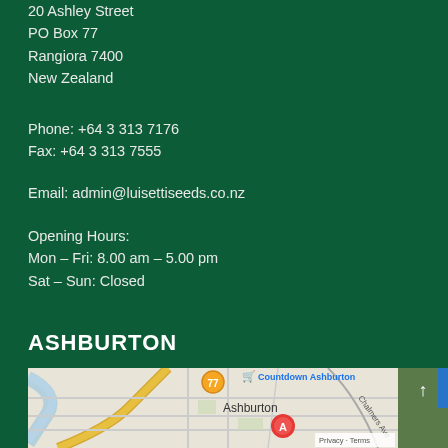20 Ashley Street
PO Box 77
Rangiora 7400
New Zealand
Phone: +64 3 313 7176
Fax: +64 3 313 7555
Email: admin@luisettiseeds.co.nz
Opening Hours:
Mon – Fri: 8.00 am – 5.00 pm
Sat – Sun: Closed
ASHBURTON
[Figure (map): Google Maps screenshot showing Ashburton town area with a red marker labeled A, Countdown Ashburton label visible, road 77 marker, and Chalmers Ave labeled. Blue river visible on left side.]